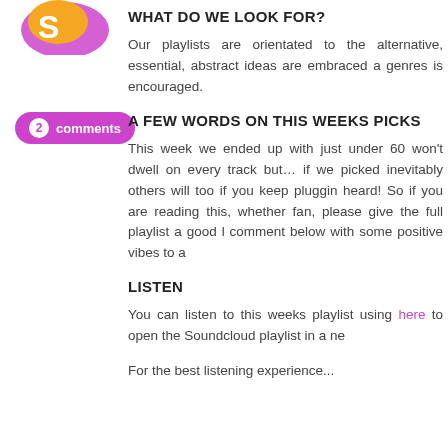[Figure (illustration): Colorful illustration or logo — orange and purple tones, top left corner]
[Figure (other): Comments badge: purple pill with '2 comments' text]
WHAT DO WE LOOK FOR?
Our playlists are orientated to the alternative, essential, abstract ideas are embraced a genres is encouraged.
A FEW WORDS ON THIS WEEKS PICKS
This week we ended up with just under 60 won't dwell on every track but… if we picked inevitably others will too if you keep pluggin heard! So if you are reading this, whether fan, please give the full playlist a good l comment below with some positive vibes to a
LISTEN
You can listen to this weeks playlist using here to open the Soundcloud playlist in a ne
For the best listening experience...